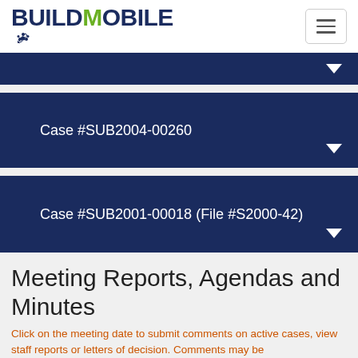BUILDMOBILE
Case #SUB2004-00260
Case #SUB2001-00018 (File #S2000-42)
Meeting Reports, Agendas and Minutes
Click on the meeting date to submit comments on active cases, view staff reports or letters of decision. Comments may be